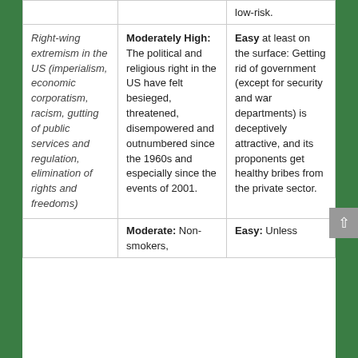|  |  |  |
| --- | --- | --- |
|  |  | low-risk. |
| Right-wing extremism in the US (imperialism, economic corporatism, racism, gutting of public services and regulation, elimination of rights and freedoms) | Moderately High: The political and religious right in the US have felt besieged, threatened, disempowered and outnumbered since the 1960s and especially since the events of 2001. | Easy at least on the surface: Getting rid of government (except for security and war departments) is deceptively attractive, and its proponents get healthy bribes from the private sector. |
|  | Moderate: Non-smokers, | Easy: Unless |